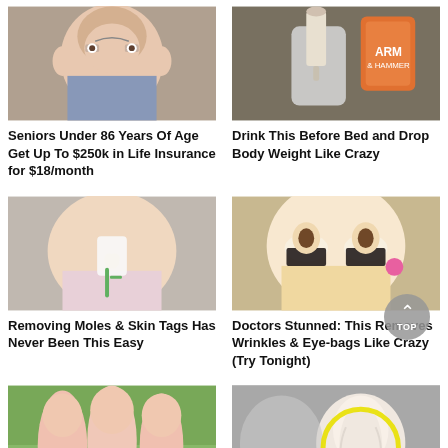[Figure (photo): Elderly man with glasses looking at camera]
Seniors Under 86 Years Of Age Get Up To $250k in Life Insurance for $18/month
[Figure (photo): Person scooping baking soda from a jar with an orange box in background]
Drink This Before Bed and Drop Body Weight Like Crazy
[Figure (photo): Woman applying white substance to her nose with a toothbrush]
Removing Moles & Skin Tags Has Never Been This Easy
[Figure (photo): Blonde woman with dark coffee grounds under her eyes]
Doctors Stunned: This Removes Wrinkles & Eye-bags Like Crazy (Try Tonight)
[Figure (photo): Group of women in pink shirts walking/jogging]
[Figure (photo): Close up of human ear with yellow circle highlight, gray hair visible]